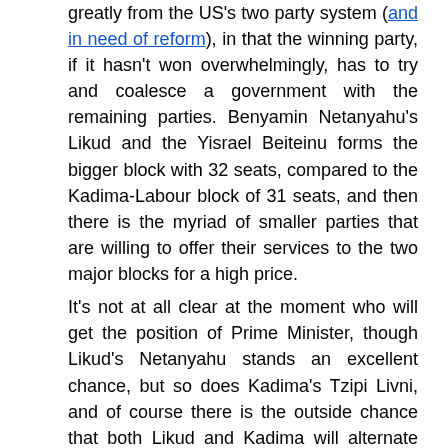greatly from the US's two party system (and in need of reform), in that the winning party, if it hasn't won overwhelmingly, has to try and coalesce a government with the remaining parties. Benyamin Netanyahu's Likud and the Yisrael Beiteinu forms the bigger block with 32 seats, compared to the Kadima-Labour block of 31 seats, and then there is the myriad of smaller parties that are willing to offer their services to the two major blocks for a high price. It's not at all clear at the moment who will get the position of Prime Minister, though Likud's Netanyahu stands an excellent chance, but so does Kadima's Tzipi Livni, and of course there is the outside chance that both Likud and Kadima will alternate the role of PM between the two parties. One thing is for sure though, the Labour party, having been forced to abandon its tradtional position of being the vanguard of socialism in Israel is left with very little to compete with in the poltical arena. The move towards the center